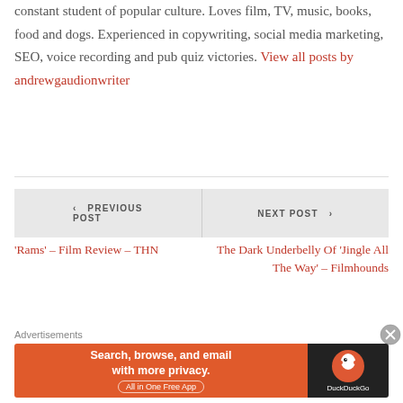constant student of popular culture. Loves film, TV, music, books, food and dogs. Experienced in copywriting, social media marketing, SEO, voice recording and pub quiz victories. View all posts by andrewgaudionwriter
‹ PREVIOUS POST — 'Rams' – Film Review – THN
NEXT POST › — The Dark Underbelly Of 'Jingle All The Way' – Filmhounds
Advertisements
[Figure (screenshot): DuckDuckGo advertisement banner: 'Search, browse, and email with more privacy. All in One Free App' with DuckDuckGo logo on dark background.]